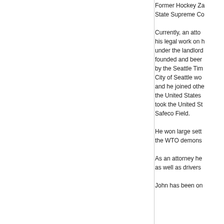Former Hockey Za State Supreme Co
Currently, an atto his legal work on h under the landlord founded and beer by the Seattle Tim City of Seattle wo and he joined othe the United States took the United St Safeco Field.
He won large sett the WTO demons
As an attorney he as well as drivers
John has been on